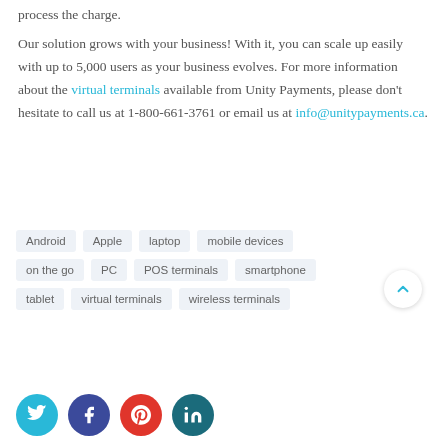process the charge.

Our solution grows with your business! With it, you can scale up easily with up to 5,000 users as your business evolves. For more information about the virtual terminals available from Unity Payments, please don't hesitate to call us at 1-800-661-3761 or email us at info@unitypayments.ca.
Android
Apple
laptop
mobile devices
on the go
PC
POS terminals
smartphone
tablet
virtual terminals
wireless terminals
[Figure (infographic): Social media share buttons: Twitter (cyan), Facebook (dark blue), Pinterest (red), LinkedIn (dark teal)]